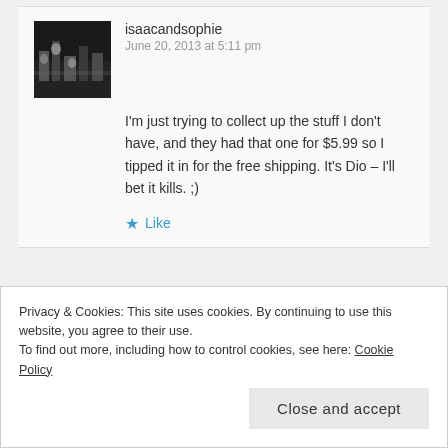isaacandsophie
June 20, 2013 at 5:11 pm
I'm just trying to collect up the stuff I don't have, and they had that one for $5.99 so I tipped it in for the free shipping. It's Dio – I'll bet it kills. ;)
★ Like
mikeladano
June 20, 2013 at 5:13 pm
Privacy & Cookies: This site uses cookies. By continuing to use this website, you agree to their use.
To find out more, including how to control cookies, see here: Cookie Policy
Close and accept